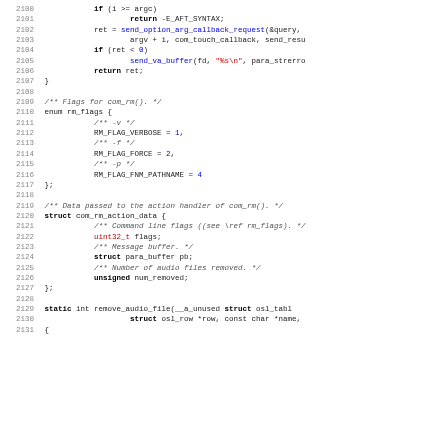[Figure (screenshot): Source code listing in C showing lines 2100-2131, including if/return statements, enum rm_flags definition, struct com_rm_action_data definition, and beginning of remove_audio_file function.]